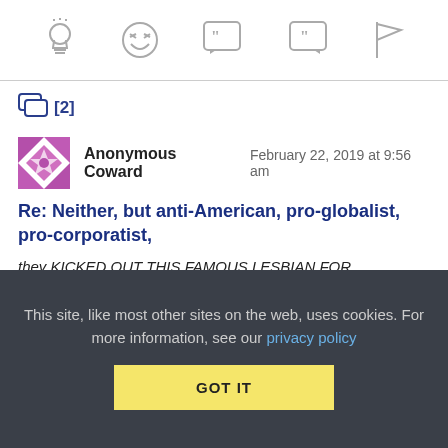[Figure (screenshot): Toolbar with five icon buttons: lightbulb, laughing emoji, open-quote speech bubble, close-quote speech bubble, flag]
[2]
[Figure (logo): Anonymous Coward avatar — pink/purple geometric snowflake star pattern]
Anonymous Coward   February 22, 2019 at 9:56 am
Re: Neither, but anti-American, pro-globalist, pro-corporatist,
they KICKED OUT THIS FAMOUS LESBIAN FOR INDEPENDENT OPINION.
they are accountable for their decisions and the...
This site, like most other sites on the web, uses cookies. For more information, see our privacy policy  GOT IT